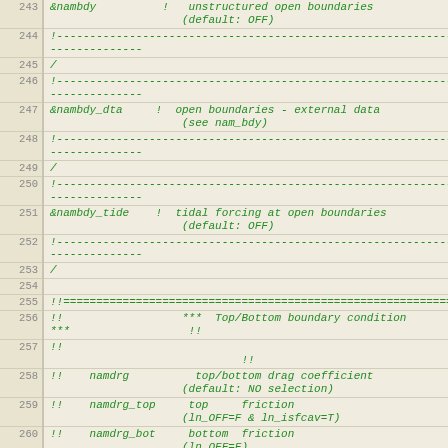Code listing lines 243-262, NEMO Fortran namelist configuration showing open boundaries and top/bottom boundary conditions
| line | code |
| --- | --- |
| 243 | &nambdy           !   unstructured open boundaries
                   (default: OFF) |
| 244 | !-------------------------------------------------------------------
------------- |
| 245 | / |
| 246 | !-------------------------------------------------------------------
------------- |
| 247 | &nambdy_dta      !  open boundaries - external data
                   (see nam_bdy) |
| 248 | !-------------------------------------------------------------------
------------- |
| 249 | / |
| 250 | !-------------------------------------------------------------------
------------- |
| 251 | &nambdy_tide     !  tidal forcing at open boundaries
                   (default: OFF) |
| 252 | !-------------------------------------------------------------------
------------- |
| 253 | / |
| 254 |  |
| 255 | !!============================================================= |
| 256 | !!                  ***  Top/Bottom boundary condition ***                  !! |
| 257 | !!                                           !! |
| 258 | !!   namdrg         top/bottom drag coefficient
                   (default: NO selection) |
| 259 | !!   namdrg_top     top     friction
                   (ln_OFF=F & ln_isfcav=T) |
| 260 | !!   namdrg_bot     bottom  friction
                   (ln_OFF=F) |
| 261 | !!   nambbc         bottom temperature boundary condition
                   (default: OFF) |
| 262 | !!   nambbl         bottom boundary layer scheme
                   (default: OFF) |